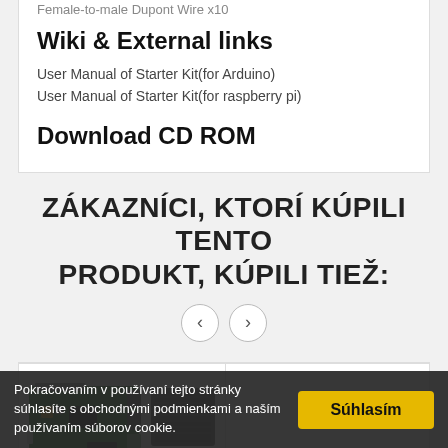Female-to-male Dupont Wire x10
Wiki & External links
User Manual of Starter Kit(for Arduino)
User Manual of Starter Kit(for raspberry pi)
Download CD ROM
ZÁKAZNÍCI, KTORÍ KÚPILI TENTO PRODUKT, KÚPILI TIEŽ:
[Figure (other): Navigation arrows (left and right) for a product carousel]
[Figure (photo): Raspberry Pi board and keyboard product image]
[Figure (other): Empty white product card placeholder]
Pokračovaním v používaní tejto stránky súhlasíte s obchodnými podmienkami a naším používaním súborov cookie.
Súhlasím